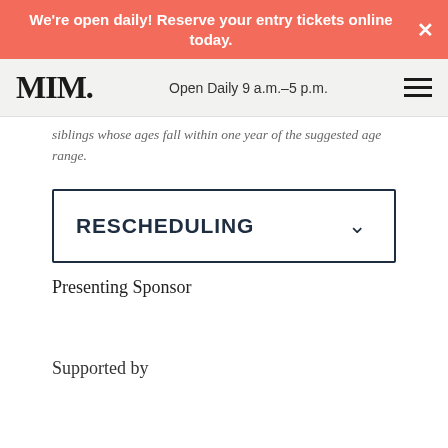We're open daily! Reserve your entry tickets online today.
MIM  Open Daily 9 a.m.–5 p.m.
siblings whose ages fall within one year of the suggested age range.
RESCHEDULING
Presenting Sponsor
Supported by